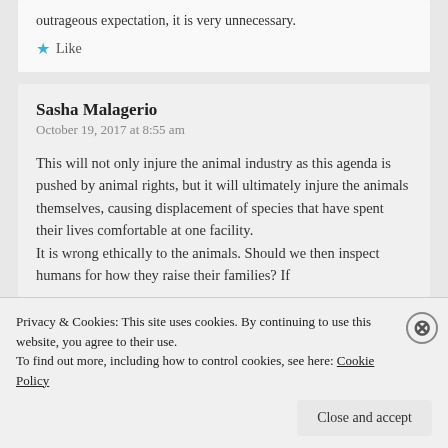outrageous expectation, it is very unnecessary.
Like
Sasha Malagerio
October 19, 2017 at 8:55 am
This will not only injure the animal industry as this agenda is pushed by animal rights, but it will ultimately injure the animals themselves, causing displacement of species that have spent their lives comfortable at one facility.
It is wrong ethically to the animals. Should we then inspect humans for how they raise their families? If
Privacy & Cookies: This site uses cookies. By continuing to use this website, you agree to their use.
To find out more, including how to control cookies, see here: Cookie Policy
Close and accept